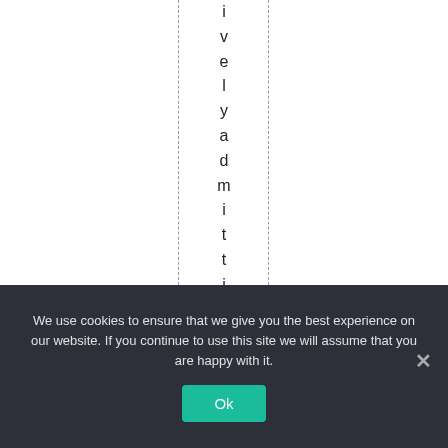ively admitting he" k
We use cookies to ensure that we give you the best experience on our website. If you continue to use this site we will assume that you are happy with it.